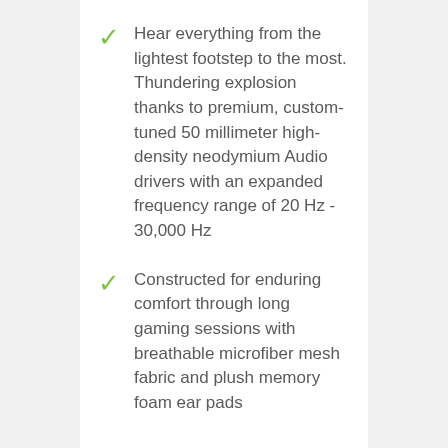Hear everything from the lightest footstep to the most. Thundering explosion thanks to premium, custom-tuned 50 millimeter high-density neodymium Audio drivers with an expanded frequency range of 20 Hz - 30,000 Hz
Constructed for enduring comfort through long gaming sessions with breathable microfiber mesh fabric and plush memory foam ear pads